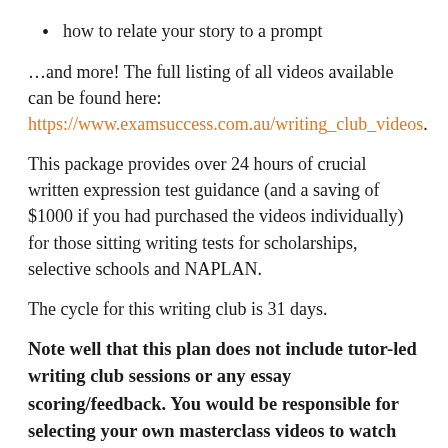how to relate your story to a prompt
…and more! The full listing of all videos available can be found here: https://www.examsuccess.com.au/writing_club_videos.
This package provides over 24 hours of crucial written expression test guidance (and a saving of $1000 if you had purchased the videos individually) for those sitting writing tests for scholarships, selective schools and NAPLAN.
The cycle for this writing club is 31 days.
Note well that this plan does not include tutor-led writing club sessions or any essay scoring/feedback. You would be responsible for selecting your own masterclass videos to watch